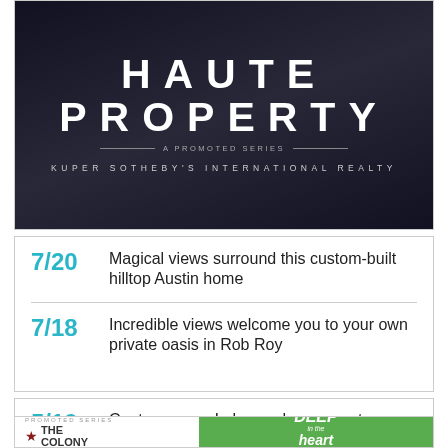[Figure (illustration): Haute Property promotional banner with dark background, showing 'HAUTE PROPERTY' in large white letters and 'A PROMOTED SERIES' subtitle, 'KUPER SOTHEBY'S INTERNATIONAL REALTY' below]
7/20  Magical views surround this custom-built hilltop Austin home
7/18  Incredible views welcome you to your own private oasis in Rob Roy
5/19  Contemporary Lakeway home sports a dream kitchen and backyard oasis
[Figure (illustration): The Colony promoted series ad with star logo on white left side and 'Deep in the heart PEACEFUL' on green right side with landscape photo]